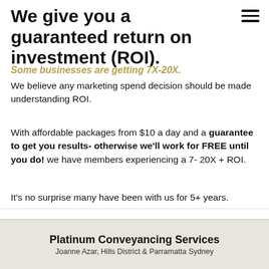We give you a guaranteed return on investment (ROI).
Some businesses are getting 7X-20X.
We believe any marketing spend decision should be made understanding ROI.
With affordable packages from $10 a day and a guarantee to get you results- otherwise we'll work for FREE until you do! we have members experiencing a 7- 20X + ROI.
It's no surprise many have been with us for 5+ years.
Platinum Conveyancing Services
Joanne Azar, Hills District & Parramatta Sydney